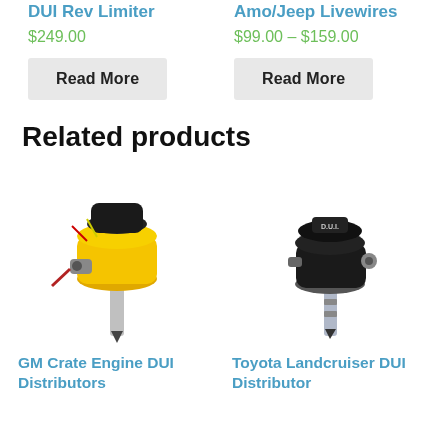DUI Rev Limiter
$249.00
Read More
Amo/Jeep Livewires
$99.00 – $159.00
Read More
Related products
[Figure (photo): GM Crate Engine DUI Distributor with yellow cap and silver shaft]
[Figure (photo): Toyota Landcruiser DUI Distributor with black cap and silver shaft]
GM Crate Engine DUI Distributors
Toyota Landcruiser DUI Distributor